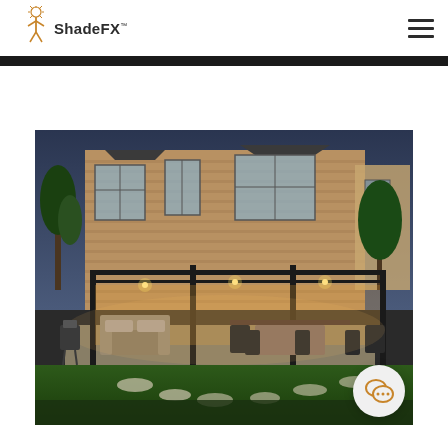ShadeFX
[Figure (photo): Exterior evening photo of a large brick house with an illuminated pergola/patio cover structure. The patio area shows outdoor seating and dining furniture lit from within, surrounded by a green lawn and garden.]